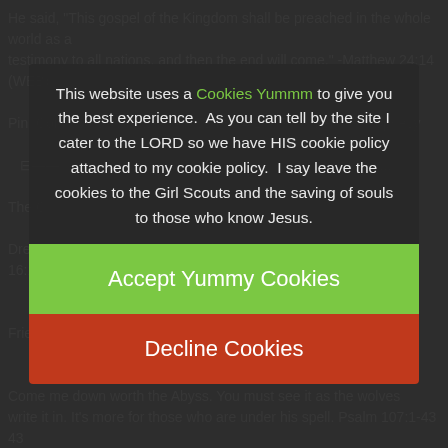This website uses a Cookies Yummm to give you the best experience.  As you can tell by the site I cater to the LORD so we have HIS cookie policy attached to my cookie policy.  I say leave the cookies to the Girl Scouts and the saving of souls to those who know Jesus.
[Figure (screenshot): Green 'Accept Yummy Cookies' button]
[Figure (screenshot): Red-orange 'Decline Cookies' button]